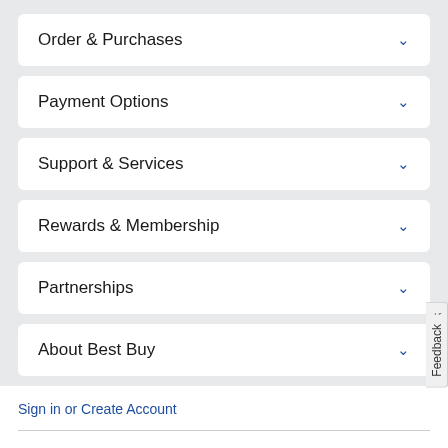Order & Purchases
Payment Options
Support & Services
Rewards & Membership
Partnerships
About Best Buy
Sign in or Create Account
Get the latest deals and more.
Enter email address